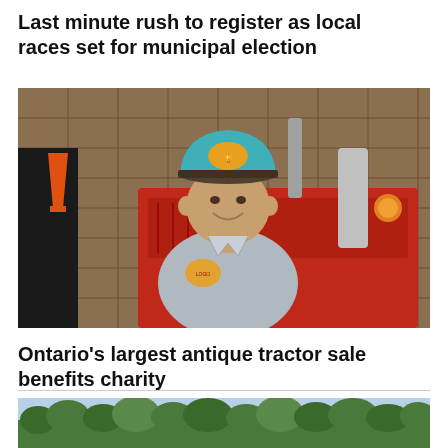Last minute rush to register as local races set for municipal election
[Figure (photo): Man in a teal and brown cap smiling, wearing a grey shirt with a logo, standing in front of a red antique tractor in a barn setting]
Ontario's largest antique tractor sale benefits charity
[Figure (photo): Landscape photo showing a treeline of green trees against a sky, partial view at bottom of page]